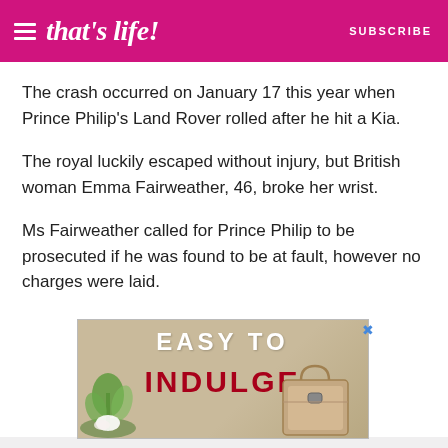that's life! SUBSCRIBE
The crash occurred on January 17 this year when Prince Philip's Land Rover rolled after he hit a Kia.
The royal luckily escaped without injury, but British woman Emma Fairweather, 46, broke her wrist.
Ms Fairweather called for Prince Philip to be prosecuted if he was found to be at fault, however no charges were laid.
[Figure (other): Advertisement banner reading 'EASY TO INDULGE' with a handbag and plants, with a close button (x) in the top right corner]